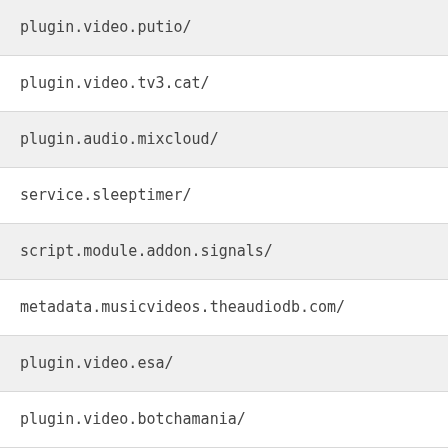plugin.video.putio/	-
plugin.video.tv3.cat/	-
plugin.audio.mixcloud/	-
service.sleeptimer/	-
script.module.addon.signals/	-
metadata.musicvideos.theaudiodb.com/	-
plugin.video.esa/	-
plugin.video.botchamania/	-